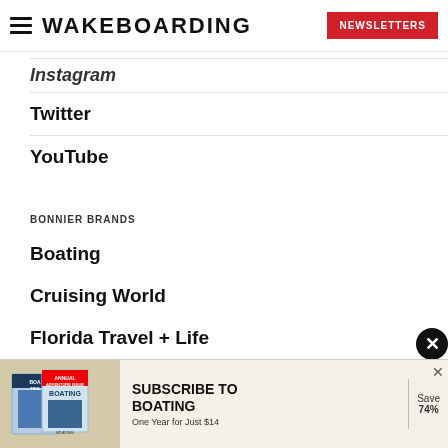WAKEBOARDING | NEWSLETTERS
Instagram
Twitter
YouTube
BONNIER BRANDS
Boating
Cruising World
Florida Travel + Life
Islands
Marlin
Sailing World
Salt Water
Sport Fishing
[Figure (infographic): Advertisement banner: Subscribe to Boating - One Year for Just $14, Save 74%. Features Boating magazine cover images.]